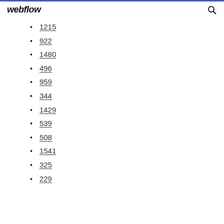webflow
1215
922
1480
496
959
344
1429
539
508
1541
325
229